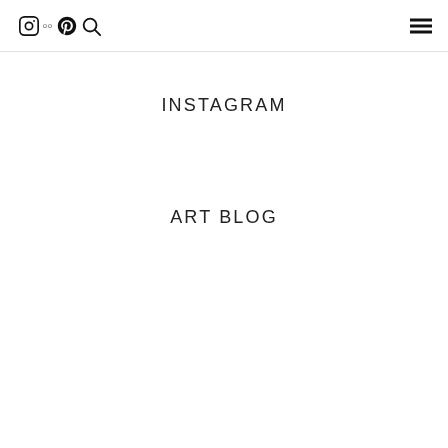Instagram Pinterest Search icons with hamburger menu
INSTAGRAM
ART BLOG